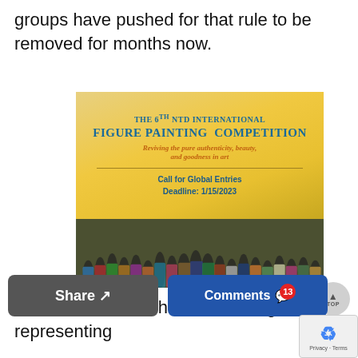groups have pushed for that rule to be removed for months now.
[Figure (illustration): Advertisement for The 6th NTD International Figure Painting Competition. Golden background with text: 'THE 6TH NTD INTERNATIONAL FIGURE PAINTING COMPETITION — Reviving the pure authenticity, beauty, and goodness in art — Call for Global Entries Deadline: 1/15/2023'. Lower portion shows a group photo of many people gathered together.]
In a letter to the White House, a group representing
Share
Comments 13